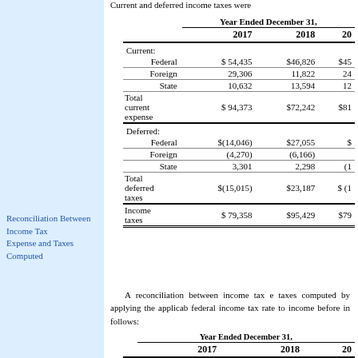Current and deferred income taxes were
|  | Year Ended December 31 |  |  |
| --- | --- | --- | --- |
|  | 2017 | 2018 | 20 |
| Current: |  |  |  |
| Federal | $ 54,435 | $46,826 | $45 |
| Foreign | 29,306 | 11,822 | 24 |
| State | 10,632 | 13,594 | 12 |
| Total current expense | $ 94,373 | $72,242 | $81 |
| Deferred: |  |  |  |
| Federal | $(14,046) | $27,055 | $ |
| Foreign | (4,270) | (6,166) |  |
| State | 3,301 | 2,298 | (1 |
| Total deferred taxes | $(15,015) | $23,187 | $ (1 |
| Income taxes | $ 79,358 | $95,429 | $79 |
Reconciliation Between Income Tax Expense and Taxes Computed
A reconciliation between income tax expense and taxes computed by applying the applicable federal income tax rate to income before income taxes follows:
|  | Year Ended December 31 |  |  |
| --- | --- | --- | --- |
|  | 2017 | 2018 | 20 |